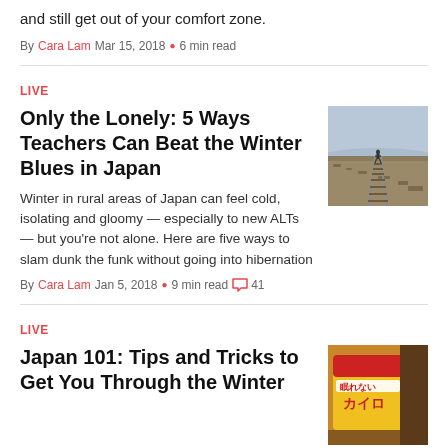and still get out of your comfort zone.
By Cara Lam Mar 15, 2018 • 6 min read
Live
Only the Lonely: 5 Ways Teachers Can Beat the Winter Blues in Japan
[Figure (photo): Person standing on railway tracks receding into distance, cloudy sky and rocky terrain]
Winter in rural areas of Japan can feel cold, isolating and gloomy — especially to new ALTs — but you're not alone. Here are five ways to slam dunk the funk without going into hibernation
By Cara Lam Jan 5, 2018 • 9 min read 41
Live
Japan 101: Tips and Tricks to Get You Through the Winter
[Figure (photo): Close-up of a Japanese product, yellow packaging with カイロ text]